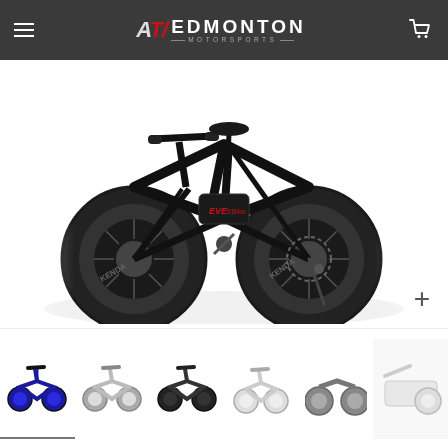ATV Edmonton Motorsports
[Figure (photo): Black fat-tire folding electric bike (e-bike) displayed on white background, showing fat tires with KENDA branding, black frame with EVE EBike logo, kickstand deployed]
[Figure (photo): Thumbnail 1: Blue fat-tire folding e-bike, side view]
[Figure (photo): Thumbnail 2: White/silver fat-tire folding e-bike, side view]
[Figure (photo): Thumbnail 3: Black fat-tire folding e-bike, side view]
[Figure (photo): Thumbnail 4: White fat-tire e-bike, front/side view]
[Figure (photo): Thumbnail 5: Gray fat-tire e-bike, side view, partial]
[Figure (photo): Thumbnail 6: White e-bike component/close-up detail shot]